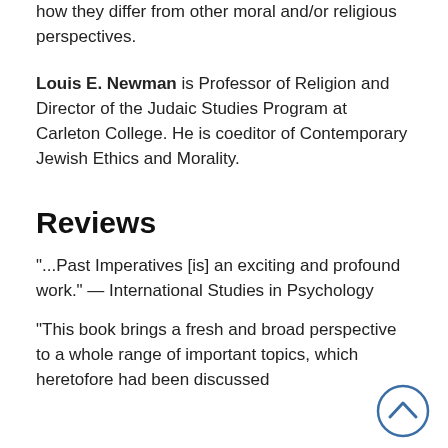how they differ from other moral and/or religious perspectives.
Louis E. Newman is Professor of Religion and Director of the Judaic Studies Program at Carleton College. He is coeditor of Contemporary Jewish Ethics and Morality.
Reviews
"...Past Imperatives [is] an exciting and profound work." — International Studies in Psychology
"This book brings a fresh and broad perspective to a whole range of important topics, which heretofore had been discussed